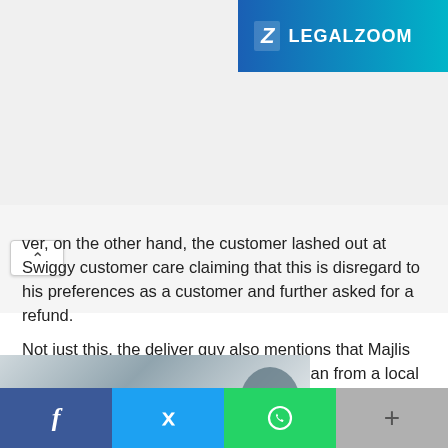[Figure (logo): LegalZoom logo — white Z icon and LEGALZOOM text on blue-to-teal gradient background banner, top right]
ver, on the other hand, the customer lashed out at Swiggy customer care claiming that this is disregard to his preferences as a customer and further asked for a refund.
Not just this, the deliver guy also mentions that Majlis Bachao Tehreek (MBT), Amzadullah Khan from a local political party influenced him to lodge a complaint in the police station for creating a religious controversy.
[Figure (photo): Partial photo of a person holding something, showing building exterior/glass facade in background, partially visible at bottom of page]
[Figure (infographic): Social sharing bar at bottom with Facebook (blue), Twitter (light blue), WhatsApp (green), and a gray more/share button, each showing respective icons]